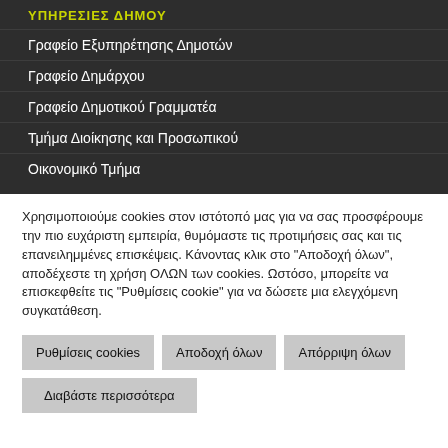ΥΠΗΡΕΣΙΕΣ ΔΗΜΟΥ
Γραφείο Εξυπηρέτησης Δημοτών
Γραφείο Δημάρχου
Γραφείο Δημοτικού Γραμματέα
Τμήμα Διοίκησης και Προσωπικού
Οικονομικό Τμήμα
Χρησιμοποιούμε cookies στον ιστότοπό μας για να σας προσφέρουμε την πιο ευχάριστη εμπειρία, θυμόμαστε τις προτιμήσεις σας και τις επανειλημμένες επισκέψεις. Κάνοντας κλικ στο "Αποδοχή όλων", αποδέχεστε τη χρήση ΟΛΩΝ των cookies. Ωστόσο, μπορείτε να επισκεφθείτε τις "Ρυθμίσεις cookie" για να δώσετε μια ελεγχόμενη συγκατάθεση.
Ρυθμίσεις cookies
Αποδοχή όλων
Απόρριψη όλων
Διαβάστε περισσότερα